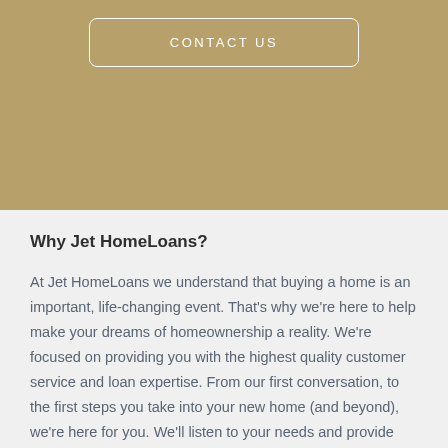[Figure (other): Gold/tan banner with a CONTACT US button outlined in white with rounded corners]
Why Jet HomeLoans?
At Jet HomeLoans we understand that buying a home is an important, life-changing event. That's why we're here to help make your dreams of homeownership a reality. We're focused on providing you with the highest quality customer service and loan expertise. From our first conversation, to the first steps you take into your new home (and beyond), we're here for you. We'll listen to your needs and provide you with a wealth of resources to make the home loan process simple and stress-free.
We offer a vast selection of loan programs, easy-to-use